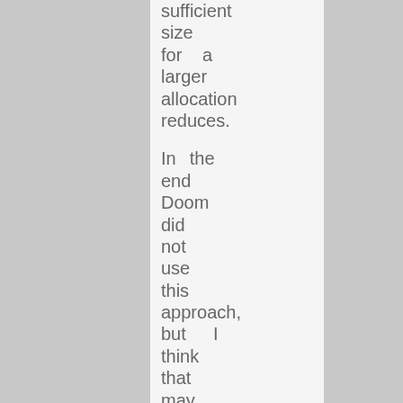sufficient size for a larger allocation reduces. In the end Doom did not use this approach, but I think that may have been the original intention. Probably what